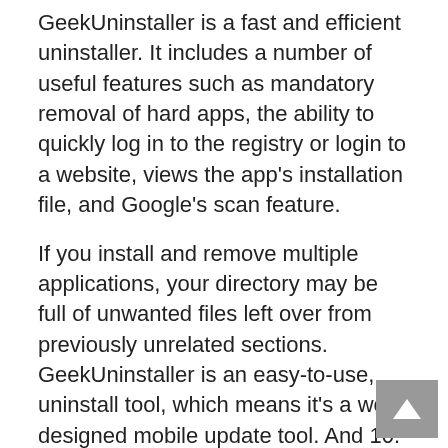GeekUninstaller is a fast and efficient uninstaller. It includes a number of useful features such as mandatory removal of hard apps, the ability to quickly log in to the registry or login to a website, views the app's installation file, and Google's scan feature.
If you install and remove multiple applications, your directory may be full of unwanted files left over from previously unrelated sections. GeekUninstaller is an easy-to-use, uninstall tool, which means it's a well-designed mobile update tool. And 10. It is a pure application that removes a variety of programs and accesses the rest of the library's functions and purposes through previously unapproved applications. If you log in and delete multiple applications, secure frames and data can be loaded into unwanted documents that have already been deleted from those parts of the program. Geek Uninstaller Torrent is a cleaner that does not require any disk space, which makes it an excellent